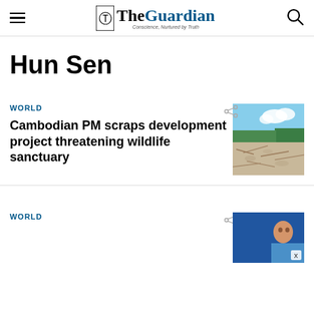The Guardian — Conscience, Nurtured by Truth
Hun Sen
WORLD
Cambodian PM scraps development project threatening wildlife sanctuary
[Figure (photo): Aerial or ground view of cleared forest land with trees in background and blue sky]
WORLD
[Figure (photo): Person in blue shirt, partial view, against blue background]